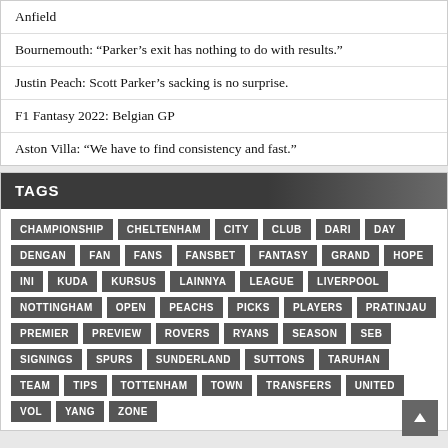Anfield
Bournemouth: “Parker’s exit has nothing to do with results.”
Justin Peach: Scott Parker’s sacking is no surprise.
F1 Fantasy 2022: Belgian GP
Aston Villa: “We have to find consistency and fast.”
TAGS
CHAMPIONSHIP CHELTENHAM CITY CLUB DARI DAY DENGAN FAN FANS FANSBET FANTASY GRAND HOPE INI KUDA KURSUS LAINNYA LEAGUE LIVERPOOL NOTTINGHAM OPEN PEACHS PICKS PLAYERS PRATINJAU PREMIER PREVIEW ROVERS RYANS SEASON SEB SIGNINGS SPURS SUNDERLAND SUTTONS TARUHAN TEAM TIPS TOTTENHAM TOWN TRANSFERS UNITED VOL YANG ZONE